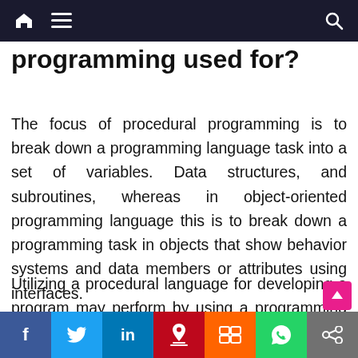Navigation bar with home, menu, and search icons
programming used for?
The focus of procedural programming is to break down a programming language task into a set of variables. Data structures, and subroutines, whereas in object-oriented programming language this is to break down a programming task in objects that show behavior systems and data members or attributes using interfaces.
Utilizing a procedural language for developing a program may perform by using a programming editor like Adobe Dreamweaver, Eclipse, Micro…